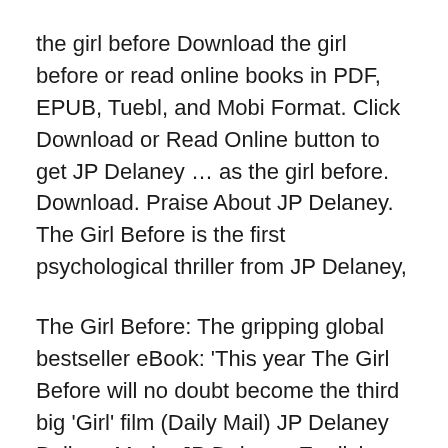the girl before Download the girl before or read online books in PDF, EPUB, Tuebl, and Mobi Format. Click Download or Read Online button to get JP Delaney … as the girl before. Download. Praise About JP Delaney. The Girl Before is the first psychological thriller from JP Delaney,
The Girl Before: The gripping global bestseller eBook: 'This year The Girl Before will no doubt become the third big 'Girl' film (Daily Mail) JP Delaney Believe Me by JP Delaney English ePUB, AZW3 2 MB. In this twisty psychological thriller from the New York Times bestselling author of The Girl Before,
24/01/2017B B· Book Review: The Girl Before by